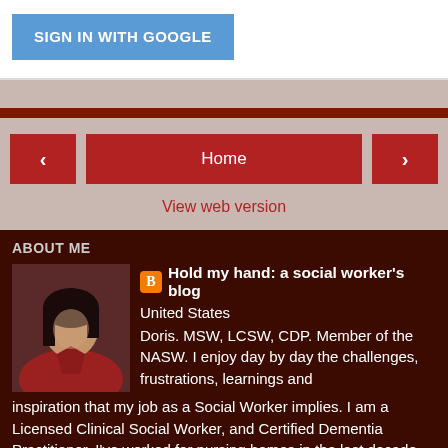[Figure (screenshot): Sign in with Google button - blue rectangular button with white uppercase text]
[Figure (screenshot): Navigation bar with left arrow, Home button (center), right arrow buttons in dark red, and View web version link below]
ABOUT ME
[Figure (photo): Profile photo of a woman with dark hair wearing a red jacket]
Hold my hand: a social worker's blog
United States
Doris. MSW, LCSW, CDP. Member of the NASW. I enjoy day by day the challenges, frustrations, learnings and inspiration that my job as a Social Worker implies. I am a Licensed Clinical Social Worker, and Certified Dementia Practitioner. I've worked for nursing homes in the last decade. I've also worked with Hospice and in Welfare and Community projects. Reflections and stories from my personal and professional journey is what inspired me to create this blog.
View my complete profile